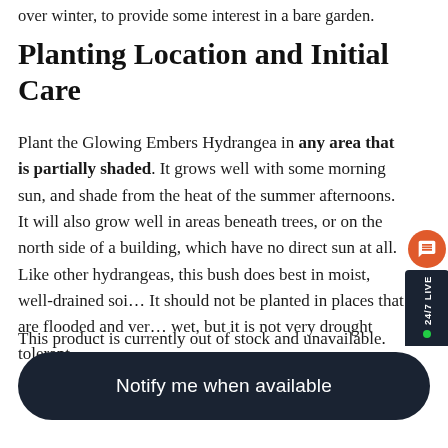over winter, to provide some interest in a bare garden.
Planting Location and Initial Care
Plant the Glowing Embers Hydrangea in any area that is partially shaded. It grows well with some morning sun, and shade from the heat of the summer afternoons. It will also grow well in areas beneath trees, or on the north side of a building, which have no direct sun at all. Like other hydrangeas, this bush does best in moist, well-drained soil. It should not be planted in places that are flooded and very wet, but it is not very drought tolerant.
This product is currently out of stock and unavailable.
[Figure (other): Dark navy rounded button with white text 'Notify me when available']